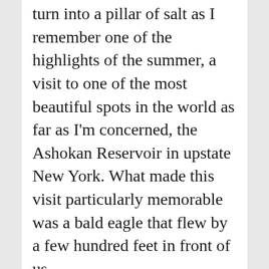turn into a pillar of salt as I remember one of the highlights of the summer, a visit to one of the most beautiful spots in the world as far as I'm concerned, the Ashokan Reservoir in upstate New York. What made this visit particularly memorable was a bald eagle that flew by a few hundred feet in front of us.
The reservoir has a protected bald eagle nesting area on its banks, but rarely had us